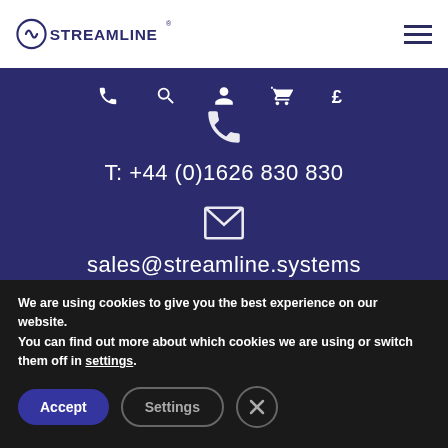[Figure (logo): Streamline company logo with circular icon and text STREAMLINE in navy blue]
[Figure (infographic): Navigation icons: phone, search, person, cart, pound sign on navy background]
T: +44 (0)1626 830 830
sales@streamline.systems
We are using cookies to give you the best experience on our website.
You can find out more about which cookies we are using or switch them off in settings.